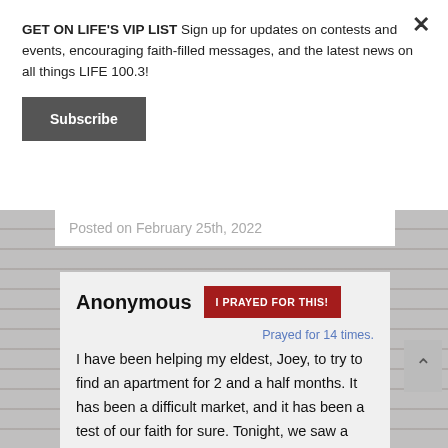GET ON LIFE'S VIP LIST Sign up for updates on contests and events, encouraging faith-filled messages, and the latest news on all things LIFE 100.3!
Subscribe
Posted on February 25th, 2022
Anonymous
I PRAYED FOR THIS!
Prayed for 14 times.
I have been helping my eldest, Joey, to try to find an apartment for 2 and a half months. It has been a difficult market, and it has been a test of our faith for sure. Tonight, we saw a really good place in